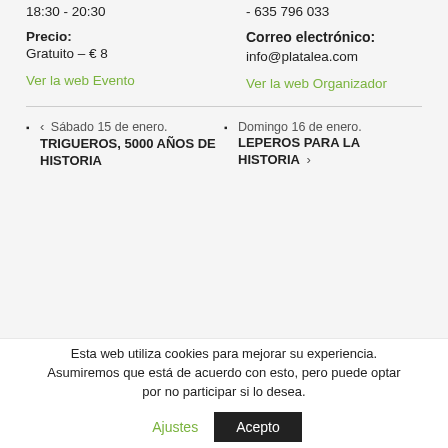18:30 - 20:30
- 635 796 033
Precio:
Correo electrónico:
Gratuito – € 8
info@platalea.com
Ver la web Evento
Ver la web Organizador
< Sábado 15 de enero. TRIGUEROS, 5000 AÑOS DE HISTORIA
Domingo 16 de enero. LEPEROS PARA LA HISTORIA >
Esta web utiliza cookies para mejorar su experiencia. Asumiremos que está de acuerdo con esto, pero puede optar por no participar si lo desea.
Ajustes
Acepto